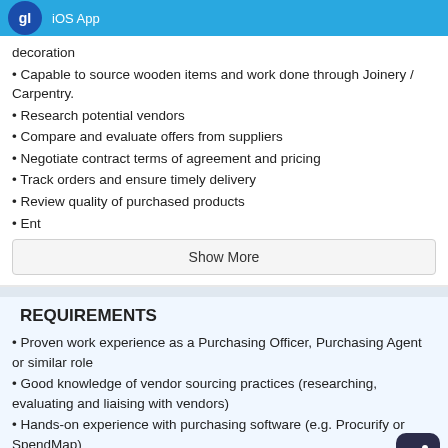iOS App
decoration
• Capable to source wooden items and work done through Joinery / Carpentry.
• Research potential vendors
• Compare and evaluate offers from suppliers
• Negotiate contract terms of agreement and pricing
• Track orders and ensure timely delivery
• Review quality of purchased products
• Ent
Show More
REQUIREMENTS
• Proven work experience as a Purchasing Officer, Purchasing Agent or similar role
• Good knowledge of vendor sourcing practices (researching, evaluating and liaising with vendors)
• Hands-on experience with purchasing software (e.g. Procurify or SpendMap)
• Understanding of supply chain procedures